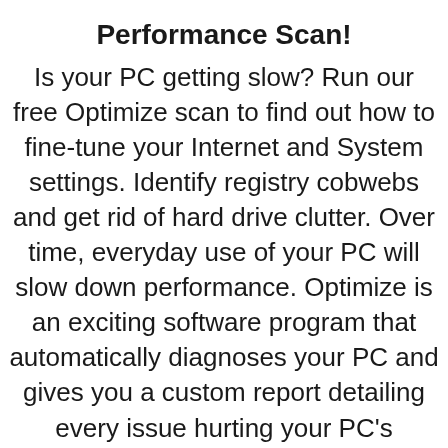Performance Scan!
Is your PC getting slow? Run our free Optimize scan to find out how to fine-tune your Internet and System settings. Identify registry cobwebs and get rid of hard drive clutter. Over time, everyday use of your PC will slow down performance. Optimize is an exciting software program that automatically diagnoses your PC and gives you a custom report detailing every issue hurting your PC's performance: Scan Now!
PC Pitstop